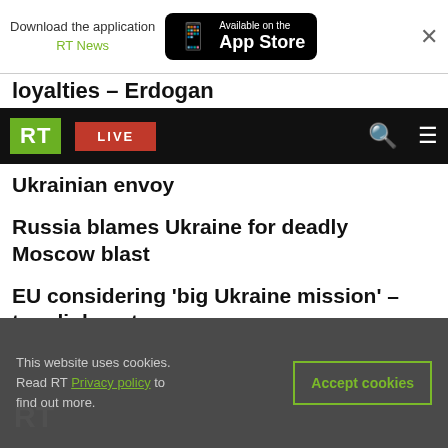[Figure (screenshot): App download banner: 'Download the application RT News' and 'Available on the App Store' button with phone icon, and close X button]
loyalties – Erdogan
[Figure (screenshot): RT navigation bar with green RT logo, red LIVE button, search icon, and hamburger menu on black background]
Ukrainian envoy
Russia blames Ukraine for deadly Moscow blast
EU considering 'big Ukraine mission' – top diplomat
Russia assesses possibility of ending Ukraine conflict
Western media's favorite Russian philosopher: Who is Aleksandr Dugin, whose daughter was killed in a Moscow car bombing?
This website uses cookies. Read RT Privacy policy to find out more.